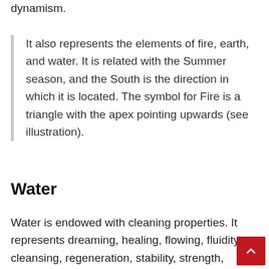dynamism.
It also represents the elements of fire, earth, and water. It is related with the Summer season, and the South is the direction in which it is located. The symbol for Fire is a triangle with the apex pointing upwards (see illustration).
Water
Water is endowed with cleaning properties. It represents dreaming, healing, flowing, fluidity, cleansing, regeneration, stability, strength, transformation, fertility, dedication, receiving, and unconditional love. It is also a